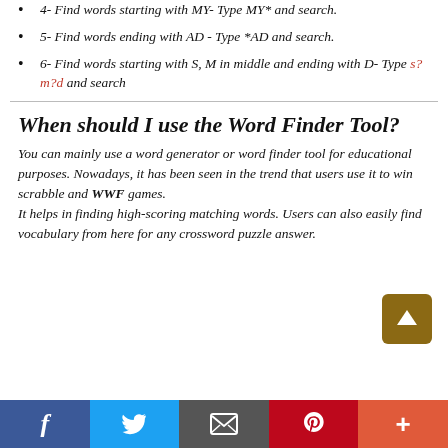4- Find words starting with MY- Type MY* and search.
5- Find words ending with AD - Type *AD and search.
6- Find words starting with S, M in middle and ending with D- Type s?m?d and search
When should I use the Word Finder Tool?
You can mainly use a word generator or word finder tool for educational purposes. Nowadays, it has been seen in the trend that users use it to win scrabble and WWF games.
It helps in finding high-scoring matching words. Users can also easily find vocabulary from here for any crossword puzzle answer.
Facebook | Twitter | Email | Pinterest | Plus